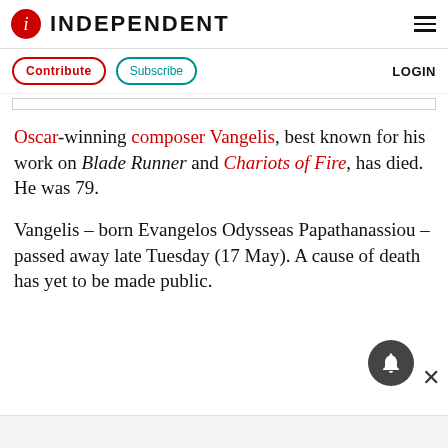INDEPENDENT
Contribute  Subscribe  LOGIN
Oscar-winning composer Vangelis, best known for his work on Blade Runner and Chariots of Fire, has died. He was 79.
Vangelis – born Evangelos Odysseas Papathanassiou – passed away late Tuesday (17 May). A cause of death has yet to be made public.